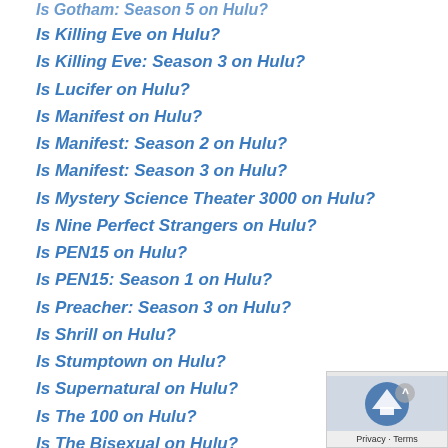Is Gotham: Season 5 on Hulu?
Is Killing Eve on Hulu?
Is Killing Eve: Season 3 on Hulu?
Is Lucifer on Hulu?
Is Manifest on Hulu?
Is Manifest: Season 2 on Hulu?
Is Manifest: Season 3 on Hulu?
Is Mystery Science Theater 3000 on Hulu?
Is Nine Perfect Strangers on Hulu?
Is PEN15 on Hulu?
Is PEN15: Season 1 on Hulu?
Is Preacher: Season 3 on Hulu?
Is Shrill on Hulu?
Is Stumptown on Hulu?
Is Supernatural on Hulu?
Is The 100 on Hulu?
Is The Bisexual on Hulu?
Is The Good Place on Hulu?
Is The Great North on Hulu?